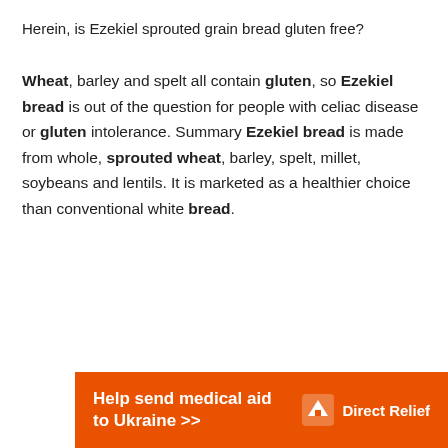Herein, is Ezekiel sprouted grain bread gluten free?
Wheat, barley and spelt all contain gluten, so Ezekiel bread is out of the question for people with celiac disease or gluten intolerance. Summary Ezekiel bread is made from whole, sprouted wheat, barley, spelt, millet, soybeans and lentils. It is marketed as a healthier choice than conventional white bread.
[Figure (infographic): Orange advertisement banner reading 'Help send medical aid to Ukraine >>' with Direct Relief logo on the right]